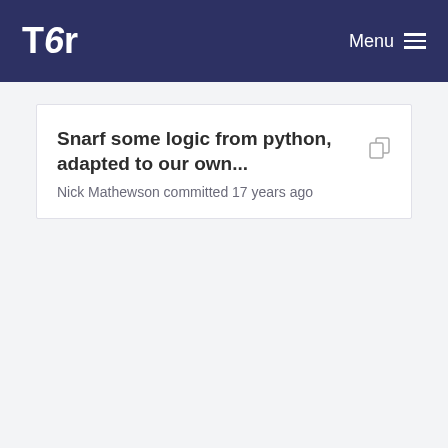Tor  Menu
Snarf some logic from python, adapted to our own...
Nick Mathewson committed 17 years ago